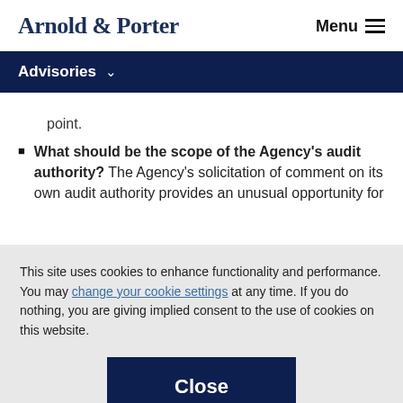Arnold & Porter | Menu
Advisories
point.
What should be the scope of the Agency's audit authority? The Agency's solicitation of comment on its own audit authority provides an unusual opportunity for
This site uses cookies to enhance functionality and performance. You may change your cookie settings at any time. If you do nothing, you are giving implied consent to the use of cookies on this website.
Close